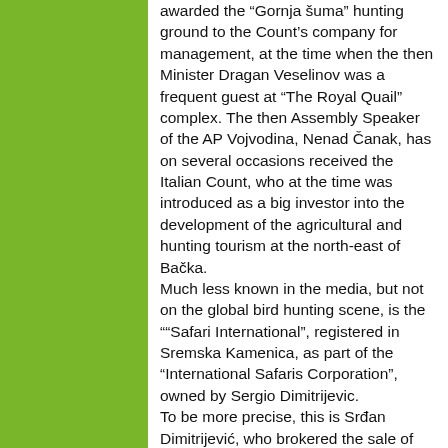awarded the “Gornja šuma” hunting ground to the Count’s company for management, at the time when the then Minister Dragan Veselinov was a frequent guest at “The Royal Quail” complex. The then Assembly Speaker of the AP Vojvodina, Nenad Čanak, has on several occasions received the Italian Count, who at the time was introduced as a big investor into the development of the agricultural and hunting tourism at the north-east of Bačka. Much less known in the media, but not on the global bird hunting scene, is the ““Safari International”, registered in Sremska Kamenica, as part of the “International Safaris Corporation”, owned by Sergio Dimitrijevic. To be more precise, this is Srđan Dimitrijević, who brokered the sale of the Serbian “Telekom” to an Italian partner, for which he had, according to